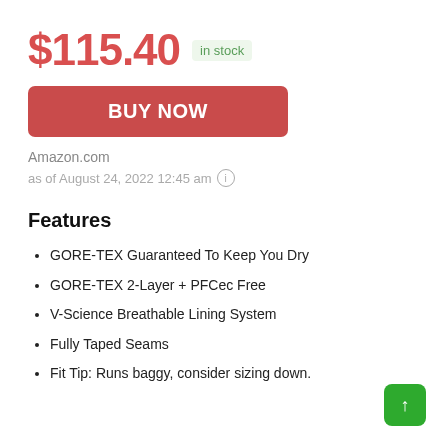$115.40 in stock
BUY NOW
Amazon.com
as of August 24, 2022 12:45 am
Features
GORE-TEX Guaranteed To Keep You Dry
GORE-TEX 2-Layer + PFCec Free
V-Science Breathable Lining System
Fully Taped Seams
Fit Tip: Runs baggy, consider sizing down.